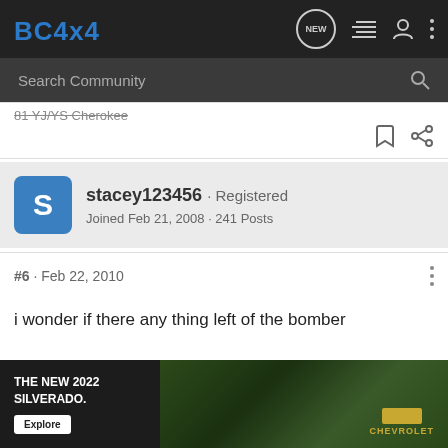[Figure (screenshot): BC4x4 forum website header navigation bar with logo, NEW chat icon, list icon, user icon, and more options dots]
[Figure (screenshot): Search Community input bar with magnifying glass icon on dark background]
81 YJ/YS Cherokee
stacey123456 · Registered
Joined Feb 21, 2008 · 241 Posts
#6 · Feb 22, 2010
i wonder if there any thing left of the bomber
1987 toy
building
[Figure (screenshot): Advertisement banner: THE NEW 2022 SILVERADO. Explore button. Chevrolet logo. Truck image on green background.]